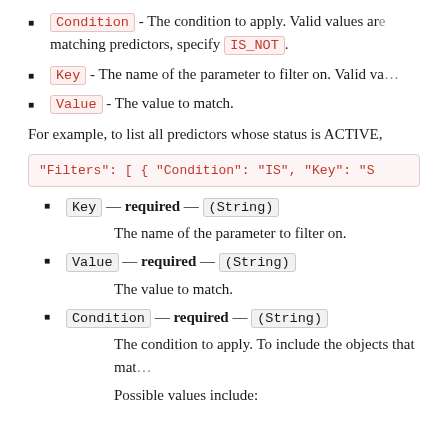Condition - The condition to apply. Valid values are... matching predictors, specify IS_NOT.
Key - The name of the parameter to filter on. Valid va...
Value - The value to match.
For example, to list all predictors whose status is ACTIVE,
"Filters": [ { "Condition": "IS", "Key": "S...
Key — required — (String)
The name of the parameter to filter on.
Value — required — (String)
The value to match.
Condition — required — (String)
The condition to apply. To include the objects that mat...
Possible values include: